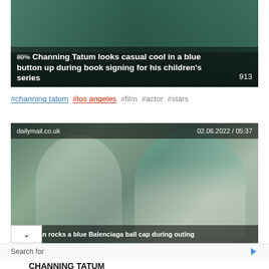[Figure (photo): Channing Tatum news article thumbnail showing a person in casual clothing]
Channing Tatum looks casual cool in a blue button up during book signing for his children's series
913
#channing tatum #los angeles #film #actor #stars
[Figure (photo): dailymail.co.uk article image showing a woman with long hair wearing a white top and blue Balenciaga cap, with a child nearby. Date: 02.06.2022 / 05:37]
na Dewan rocks a blue Balenciaga ball cap during outing
Search for
1. CHANNING TATUM BIOGRAPHY
Yahoo! Search | Sponsored